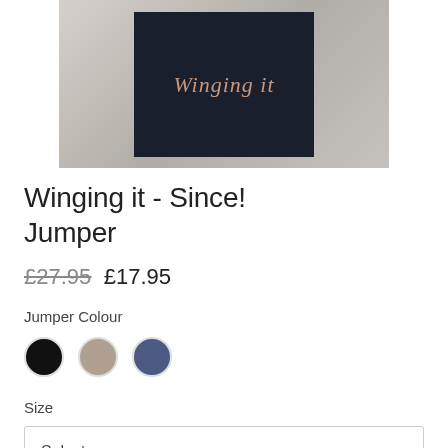[Figure (photo): A dark navy/black jumper laid on a light wooden surface, with 'Winging it' written in rose gold cursive script on the front.]
Winging it - Since! Jumper
£27.95 £17.95
Jumper Colour
Size
Select